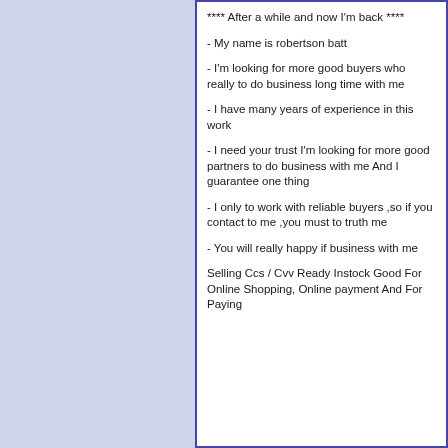**** After a while and now I'm back ****
- My name is robertson batt
- I'm looking for more good buyers who really to do business long time with me
- I have many years of experience in this work
- I need your trust I'm looking for more good partners to do business with me And I guarantee one thing
- I only to work with reliable buyers ,so if you contact to me ,you must to truth me
- You will really happy if business with me
Selling Ccs / Cvv Ready Instock Good For Online Shopping, Online payment And For Paying